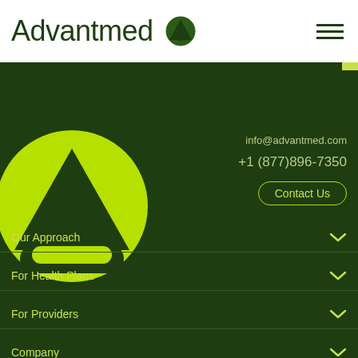Advantmed
[Figure (logo): Advantmed logo - dark green triangle/circle icon in header]
[Figure (logo): Large Advantmed lime green logo mark on dark green background]
info@advantmed.com
+1 (877)896-7350
Contact Us
Our Approach
For Health Plans
For Providers
Company
Resources